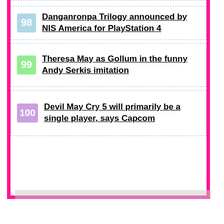98 Danganronpa Trilogy announced by NIS America for PlayStation 4
99 Theresa May as Gollum in the funny Andy Serkis imitation
100 Devil May Cry 5 will primarily be a single player, says Capcom